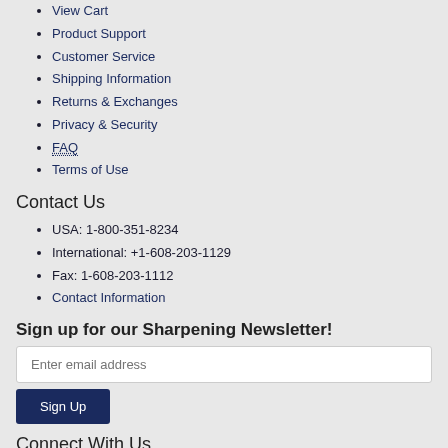View Cart
Product Support
Customer Service
Shipping Information
Returns & Exchanges
Privacy & Security
FAQ
Terms of Use
Contact Us
USA: 1-800-351-8234
International: +1-608-203-1129
Fax: 1-608-203-1112
Contact Information
Sign up for our Sharpening Newsletter!
Enter email address
Sign Up
Connect With Us